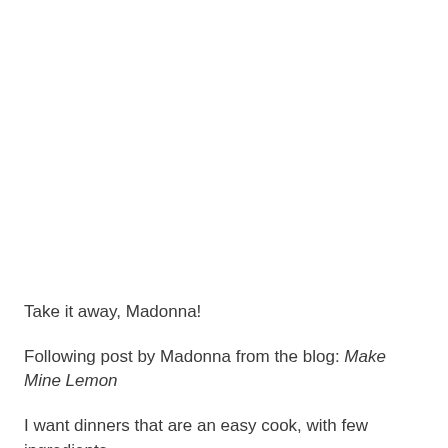Take it away, Madonna!
Following post by Madonna from the blog: Make Mine Lemon
I want dinners that are an easy cook, with few ingredients, but taste like they are more complex. I want the ingredients to fit on a recipe card so I can put it in my purse, take it with